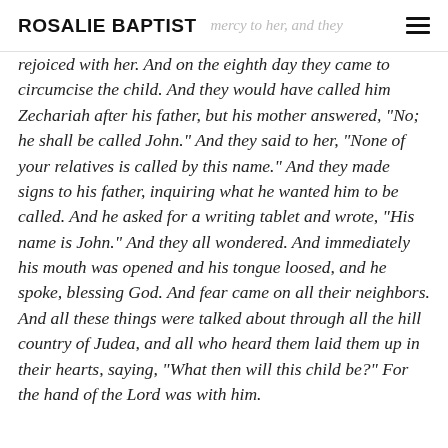ROSALIE BAPTIST
mercy to her, and they rejoiced with her. And on the eighth day they came to circumcise the child. And they would have called him Zechariah after his father, but his mother answered, “No; he shall be called John.” And they said to her, “None of your relatives is called by this name.” And they made signs to his father, inquiring what he wanted him to be called. And he asked for a writing tablet and wrote, “His name is John.” And they all wondered. And immediately his mouth was opened and his tongue loosed, and he spoke, blessing God. And fear came on all their neighbors. And all these things were talked about through all the hill country of Judea, and all who heard them laid them up in their hearts, saying, “What then will this child be?” For the hand of the Lord was with him.